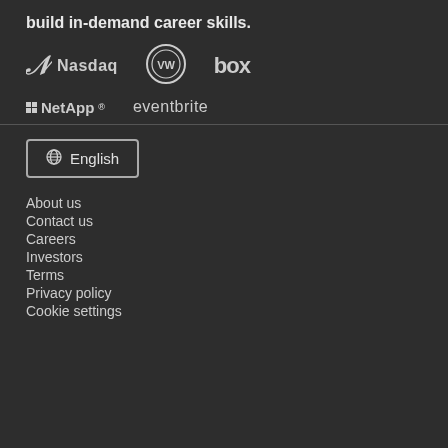build in-demand career skills.
[Figure (logo): Nasdaq logo]
[Figure (logo): Volkswagen VW circle logo]
[Figure (logo): Box logo]
[Figure (logo): NetApp logo]
[Figure (logo): Eventbrite logo]
English
About us
Contact us
Careers
Investors
Terms
Privacy policy
Cookie settings